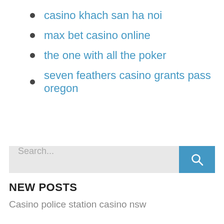casino khach san ha noi
max bet casino online
the one with all the poker
seven feathers casino grants pass oregon
Search...
NEW POSTS
Casino police station casino nsw